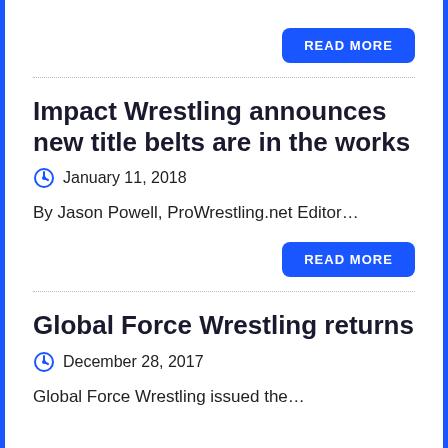Impact Wrestling announces new title belts are in the works
January 11, 2018
By Jason Powell, ProWrestling.net Editor…
Global Force Wrestling returns
December 28, 2017
Global Force Wrestling issued the…